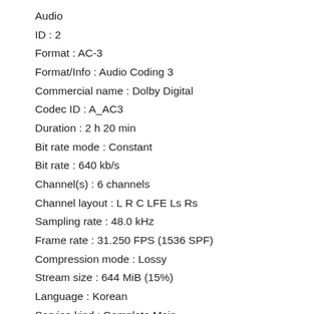Audio
ID : 2
Format : AC-3
Format/Info : Audio Coding 3
Commercial name : Dolby Digital
Codec ID : A_AC3
Duration : 2 h 20 min
Bit rate mode : Constant
Bit rate : 640 kb/s
Channel(s) : 6 channels
Channel layout : L R C LFE Ls Rs
Sampling rate : 48.0 kHz
Frame rate : 31.250 FPS (1536 SPF)
Compression mode : Lossy
Stream size : 644 MiB (15%)
Language : Korean
Service kind : Complete Main
Default : Yes